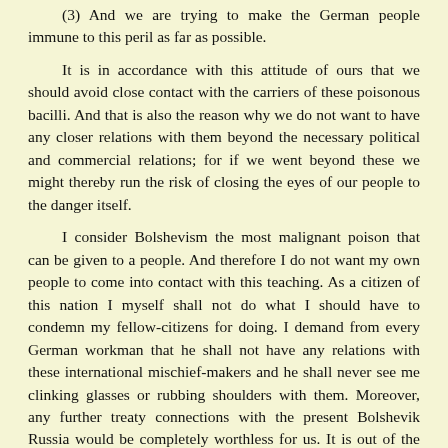(3) And we are trying to make the German people immune to this peril as far as possible.
It is in accordance with this attitude of ours that we should avoid close contact with the carriers of these poisonous bacilli. And that is also the reason why we do not want to have any closer relations with them beyond the necessary political and commercial relations; for if we went beyond these we might thereby run the risk of closing the eyes of our people to the danger itself.
I consider Bolshevism the most malignant poison that can be given to a people. And therefore I do not want my own people to come into contact with this teaching. As a citizen of this nation I myself shall not do what I should have to condemn my fellow-citizens for doing. I demand from every German workman that he shall not have any relations with these international mischief-makers and he shall never see me clinking glasses or rubbing shoulders with them. Moreover, any further treaty connections with the present Bolshevik Russia would be completely worthless for us. It is out of the question to think that National Socialist Germany should ever be bound to protect Bolshevism or that we, on our side, should be